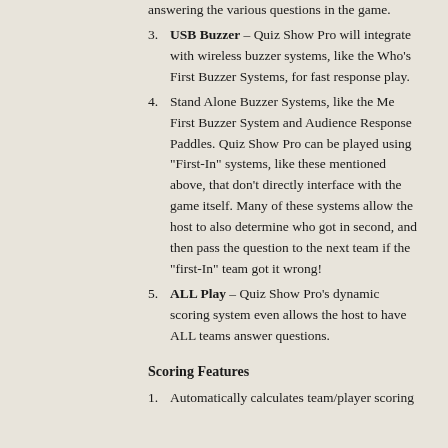answering the various questions in the game.
3. USB Buzzer – Quiz Show Pro will integrate with wireless buzzer systems, like the Who's First Buzzer Systems, for fast response play.
4. Stand Alone Buzzer Systems, like the Me First Buzzer System and Audience Response Paddles. Quiz Show Pro can be played using "First-In" systems, like these mentioned above, that don't directly interface with the game itself. Many of these systems allow the host to also determine who got in second, and then pass the question to the next team if the "first-In" team got it wrong!
5. ALL Play – Quiz Show Pro's dynamic scoring system even allows the host to have ALL teams answer questions.
Scoring Features
1. Automatically calculates team/player scoring